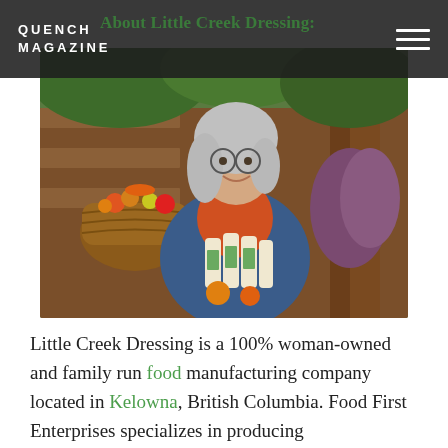QUENCH MAGAZINE
About Little Creek Dressing:
[Figure (photo): An older woman with long grey hair and glasses, wearing a blue jacket over an orange turtleneck, holding a basket of Little Creek Dressing bottles decorated with marigolds. A wicker basket with vegetables and fruits is visible to her left, and lush greenery surrounds her on wooden steps.]
Little Creek Dressing is a 100% woman-owned and family run food manufacturing company located in Kelowna, British Columbia. Food First Enterprises specializes in producing